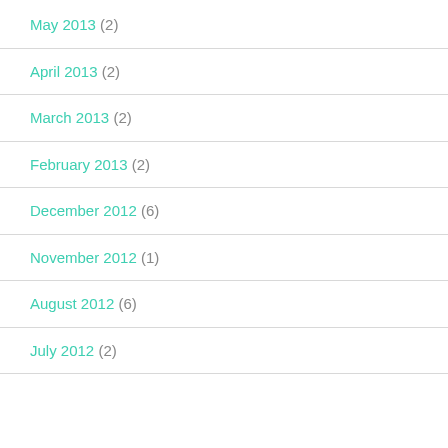May 2013 (2)
April 2013 (2)
March 2013 (2)
February 2013 (2)
December 2012 (6)
November 2012 (1)
August 2012 (6)
July 2012 (2)